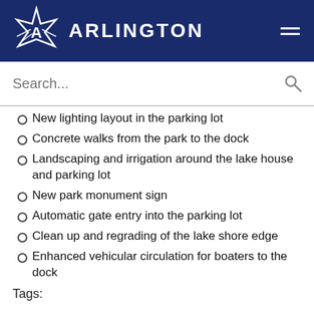[Figure (logo): Arlington city logo with star and text ARLINGTON on dark navy header with hamburger menu icon]
New lighting layout in the parking lot
Concrete walks from the park to the dock
Landscaping and irrigation around the lake house and parking lot
New park monument sign
Automatic gate entry into the parking lot
Clean up and regrading of the lake shore edge
Enhanced vehicular circulation for boaters to the dock
Tags: